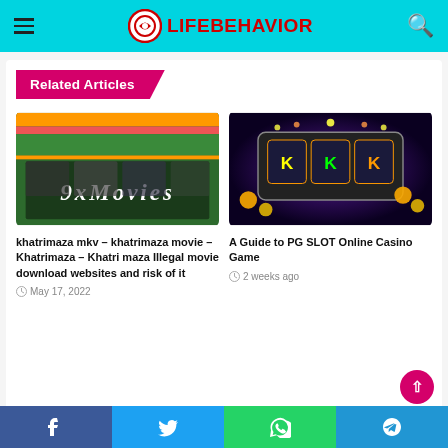LIFEBEHAVIOR
Related Articles
[Figure (screenshot): 9xMovies website screenshot showing movie download interface with orange and green header]
khatrimaza mkv – khatrimaza movie – Khatrimaza – Khatri maza Illegal movie download websites and risk of it
May 17, 2022
[Figure (photo): PG SLOT online casino game promotional image with slot machines and coins on dark purple background]
A Guide to PG SLOT Online Casino Game
2 weeks ago